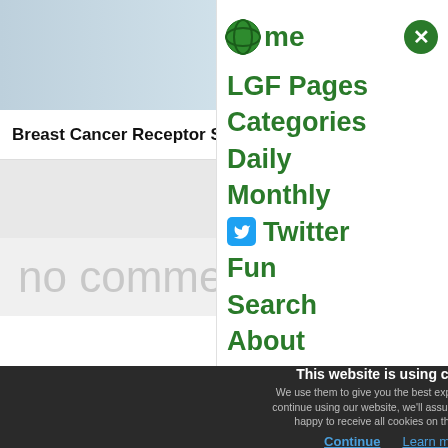[Figure (photo): Hero image showing a medical/healthcare scene with light blue-gray tones, partially visible]
Breast Cancer Receptor Status: Understanding the D
Jump to bottom
no comments
Auto
This page has been archived.
Comments are closed.
me
LGF Pages
Categories
Daily
Monthly
Twitter
Fun
Search
About
This website is using cookies.
We use them to give you the best experience. If you continue using our website, we'll assume that you are happy to receive all cookies on this website.
Continue    Learn more